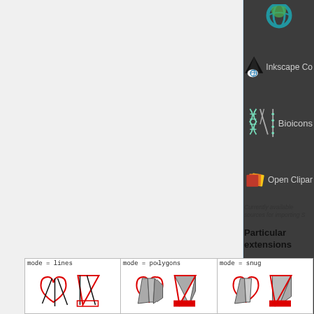[Figure (screenshot): Dark UI panel showing icons and labels for: Inkscape Co(mmunity), Bioicons, Open Clipar(t) — symbol libraries available for SVG import]
Currently available sources for importing S...
Particular extensions
[Figure (illustration): Three-panel illustration showing different extension modes: mode = lines (black/red line drawings of overlapping shapes), mode = polygons (gray filled polygon shapes), mode = snug (similar shapes arranged snugly)]